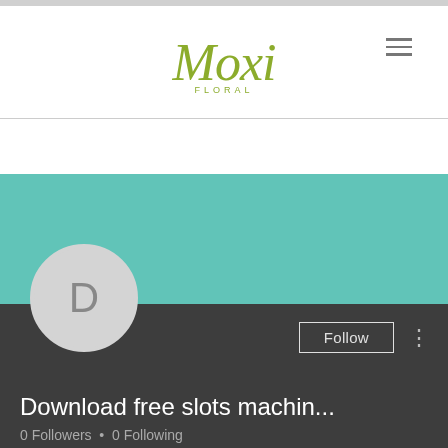[Figure (logo): Moxi Floral logo in olive/yellow-green script font with 'FLORAL' subtitle, and hamburger menu icon]
[Figure (screenshot): Social media profile card with teal banner, circular avatar with letter D, Follow button, username 'Download free slots machin...', 0 Followers, 0 Following, dark background]